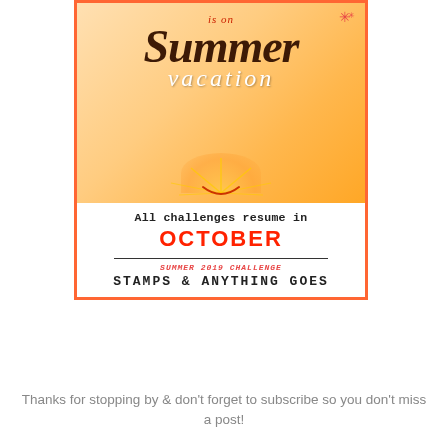[Figure (illustration): Summer vacation challenge banner with orange gradient background, decorative sun, script text reading 'is on Summer vacation', 'All challenges resume in OCTOBER', and 'SUMMER 2019 CHALLENGE STAMPS & ANYTHING GOES'. Bordered with orange frame.]
Thanks for stopping by & don't forget to subscribe so you don't miss a post!